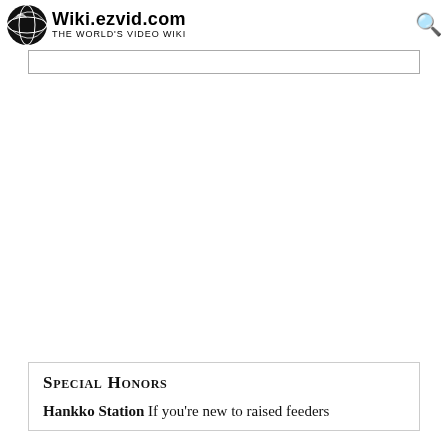Wiki.ezvid.com – The World's Video Wiki
k a dishwasher-safe option, like the Necoichi eeder Express.
[Figure (other): Large blank white image/content area in the center of the page]
Special Honors
Hankko Station If you're new to raised feeders